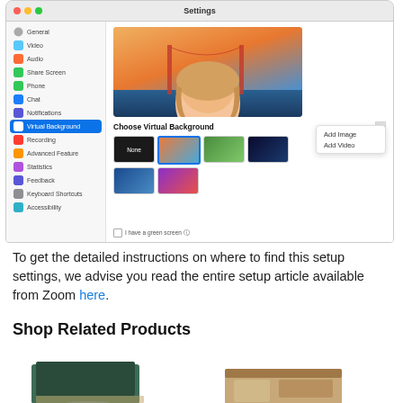[Figure (screenshot): Zoom Settings window on macOS showing the Virtual Background panel. Left sidebar lists: General, Video, Audio, Share Screen, Phone, Chat, Notifications, Virtual Background (selected/highlighted in blue), Recording, Advanced Feature, Statistics, Feedback, Keyboard Shortcuts, Accessibility. Main panel shows a preview of a woman's face composited over Golden Gate Bridge background, a 'Choose Virtual Background' heading with thumbnail options (None, bridge, grass, space/dark, earth from space, purple gradient), and an Add Image / Add Video dropdown popup. A green screen checkbox is at the bottom.]
To get the detailed instructions on where to find this setup settings, we advise you read the entire setup article available from Zoom here.
Shop Related Products
[Figure (photo): Product image of a laptop on a teal/green desk pad with accessories]
[Figure (photo): Product image of a wooden desk organizer/shelf with items on it]